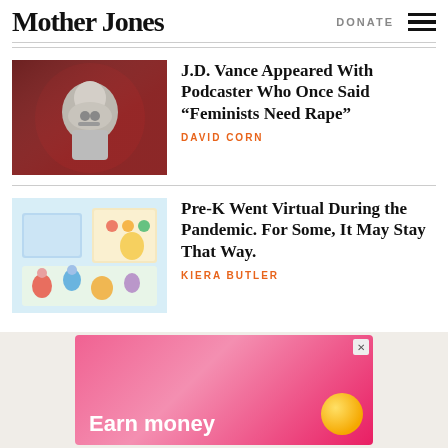Mother Jones
DONATE
J.D. Vance Appeared With Podcaster Who Once Said “Feminists Need Rape”
DAVID CORN
Pre-K Went Virtual During the Pandemic. For Some, It May Stay That Way.
KIERA BUTLER
[Figure (illustration): Ad banner with pink gradient background showing 'Earn money' text and a gold coin illustration]